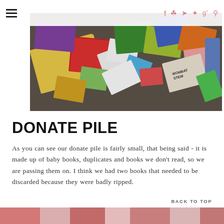Navigation header with hamburger menu and social icons (f, Instagram, Twitter, Pinterest, g+, search)
[Figure (photo): A pile of colorful children's books spread out on a gray carpet floor, viewed from above. Multiple books with bright illustrated covers visible including titles like 'Wombat Stew'.]
DONATE PILE
As you can see our donate pile is fairly small, that being said - it is made up of baby books, duplicates and books we don't read, so we are passing them on. I think we had two books that needed to be discarded because they were badly ripped.
BACK TO TOP
[Figure (photo): Partial view of another image at the bottom of the page, showing colorful items.]